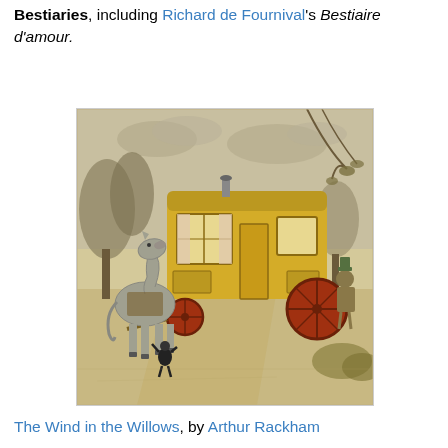Bestiaries, including Richard de Fournival's Bestiaire d'amour.
[Figure (illustration): Illustration from The Wind in the Willows by Arthur Rackham, showing a gypsy caravan (yellow wagon) pulled by a horse, with a small mole-like figure walking beside the horse on a country road.]
The Wind in the Willows, by Arthur Rackham